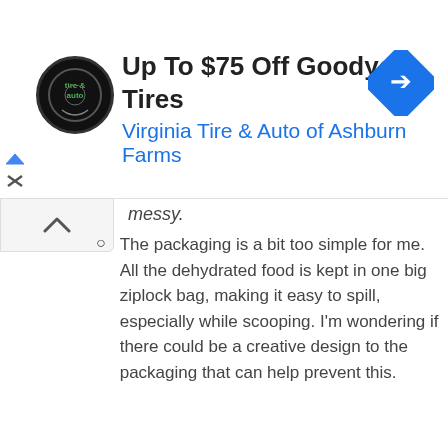[Figure (other): Advertisement banner: Up To $75 Off Goodyear Tires - Virginia Tire & Auto of Ashburn Farms, with circular tire & auto logo and blue arrow road sign icon]
messy.
The packaging is a bit too simple for me. All the dehydrated food is kept in one big ziplock bag, making it easy to spill, especially while scooping. I'm wondering if there could be a creative design to the packaging that can help prevent this.
Ingredients
All ingredients dehydrated: Haddock, whiting, sweet potatoes, eggs, organic coconut, organic alfalfa, apples, pumpkin, parsley, cabbage, bananas, salmon, cranberries, garlic, rosemary extract*, tricalcium phosphate, choline chloride, zinc amino acid chelate, vitamin D3 supplement, vitamin E supplement, potassium iodide, potassium chloride, iron amino acid chelate, copper amino acid chelate.
Guaranteed Analysis